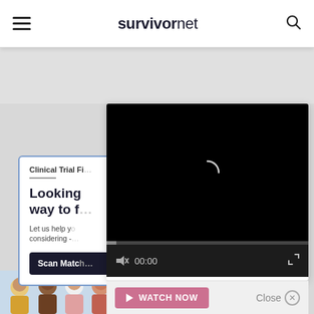survivornet
[Figure (screenshot): Video player with black screen showing loading spinner, progress bar, mute button, 00:00 timecode, and fullscreen icon]
WATCH NOW
Close
Clinical Trial Fi
Looking way to f
Let us help yo considering -
Scan Matc
[Figure (illustration): Illustrated group of diverse people from shoulders up, colorful cartoon style]